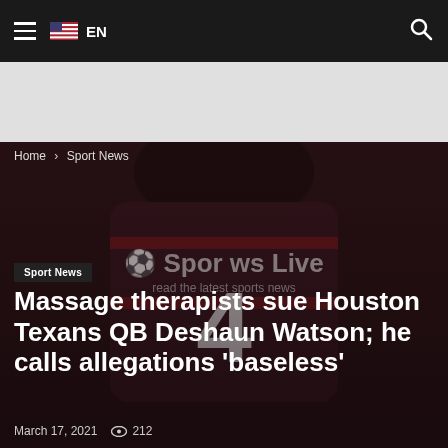≡ 🇺🇸 EN
[Figure (photo): Dark-tinted photo of a Houston Texans football player wearing jersey number 4, with a Sports News Live watermark overlay]
Home › Sport News
Sport News
Massage therapists sue Houston Texans QB Deshaun Watson; he calls allegations 'baseless'
March 17, 2021  👁 212